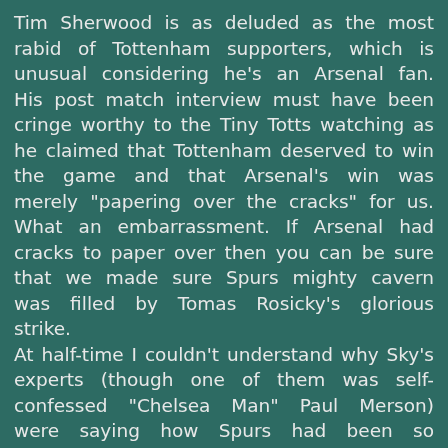Tim Sherwood is as deluded as the most rabid of Tottenham supporters, which is unusual considering he's an Arsenal fan. His post match interview must have been cringe worthy to the Tiny Totts watching as he claimed that Tottenham deserved to win the game and that Arsenal's win was merely "papering over the cracks" for us. What an embarrassment. If Arsenal had cracks to paper over then you can be sure that we made sure Spurs mighty cavern was filled by Tomas Rosicky's glorious strike.
At half-time I couldn't understand why Sky's experts (though one of them was self-confessed "Chelsea Man" Paul Merson) were saying how Spurs had been so dominant. Yes, they'd had a lot of the ball, but Arsenal should have been three or four up before the break. We got the first goal in stunning fashion from Tomas Rosicky (as I may have mentioned) and then hit them on the break time and again. Every time we